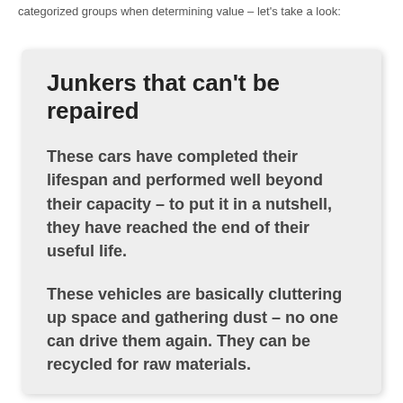categorized groups when determining value – let's take a look:
Junkers that can't be repaired
These cars have completed their lifespan and performed well beyond their capacity – to put it in a nutshell, they have reached the end of their useful life.
These vehicles are basically cluttering up space and gathering dust – no one can drive them again. They can be recycled for raw materials.